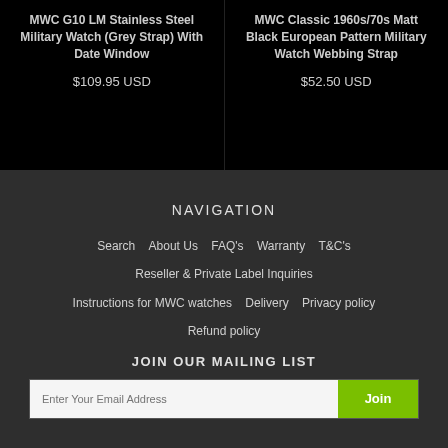MWC G10 LM Stainless Steel Military Watch (Grey Strap) With Date Window
$109.95 USD
MWC Classic 1960s/70s Matt Black European Pattern Military Watch Webbing Strap
$52.50 USD
NAVIGATION
Search   About Us   FAQ's   Warranty   T&C's
Reseller & Private Label Inquiries
Instructions for MWC watches   Delivery   Privacy policy
Refund policy
JOIN OUR MAILING LIST
Enter Your Email Address